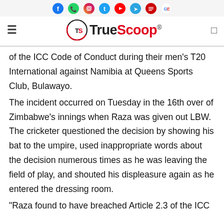TrueScoop (with social icons: Facebook, WhatsApp, Instagram, Twitter, YouTube, Telegram, and others)
of the ICC Code of Conduct during their men's T20 International against Namibia at Queens Sports Club, Bulawayo.
The incident occurred on Tuesday in the 16th over of Zimbabwe's innings when Raza was given out LBW. The cricketer questioned the decision by showing his bat to the umpire, used inappropriate words about the decision numerous times as he was leaving the field of play, and shouted his displeasure again as he entered the dressing room.
"Raza found to have breached Article 2.3 of the ICC